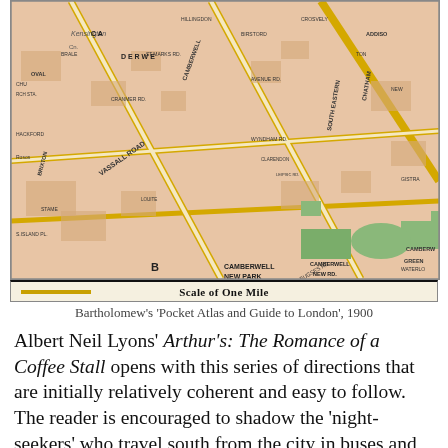[Figure (map): Excerpt from Bartholomew's Pocket Atlas and Guide to London, 1900, showing a street map of the Camberwell/Brixton area of south London. Roads including Vassall Road, Camberwell New Park, South Eastern Road, Chatham Road, and other streets are visible. A scale bar at the bottom reads 'Scale of One Mile'.]
Bartholomew's 'Pocket Atlas and Guide to London', 1900
Albert Neil Lyons' Arthur's: The Romance of a Coffee Stall opens with this series of directions that are initially relatively coherent and easy to follow. The reader is encouraged to shadow the 'night-seekers' who travel south from the city in buses and trams. Passing the Obelisk that is still located at St. George's Circus (having returned